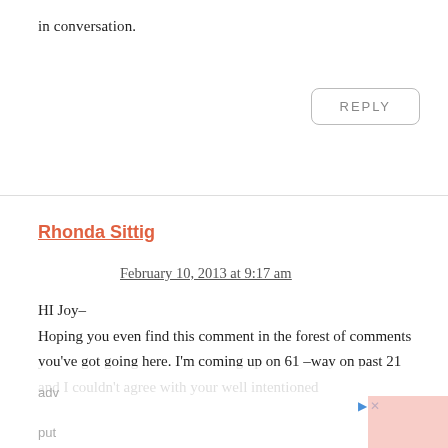in conversation.
REPLY
Rhonda Sittig
February 10, 2013 at 9:17 am
HI Joy–
Hoping you even find this comment in the forest of comments you've got going here. I'm coming up on 61 –way on past 21 and I couldn't agree with your well intentioned adv... put